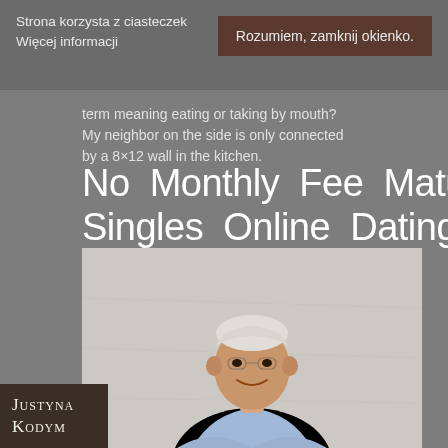Strona korzysta z ciasteczek Więcej informacji
Rozumiem, zamknij okienko.
term meaning eating or taking by mouth? My neighbor on the side is only connected by a 8×12 wall in the kitchen.
No Monthly Fee Mature Singles Online Dating Site
[Figure (photo): Smiling older Asian man with white/grey hair, wearing a light blue collared shirt, arms crossed, photographed against a light background]
Justyna Kodym